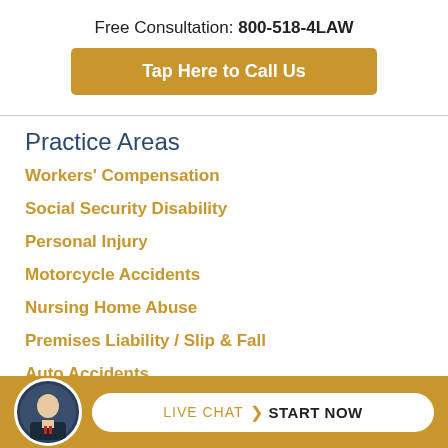Free Consultation: 800-518-4LAW
Tap Here to Call Us
Practice Areas
Workers' Compensation
Social Security Disability
Personal Injury
Motorcycle Accidents
Nursing Home Abuse
Premises Liability / Slip & Fall
Auto Accidents
Dangerous Drugs & Products
LIVE CHAT  START NOW